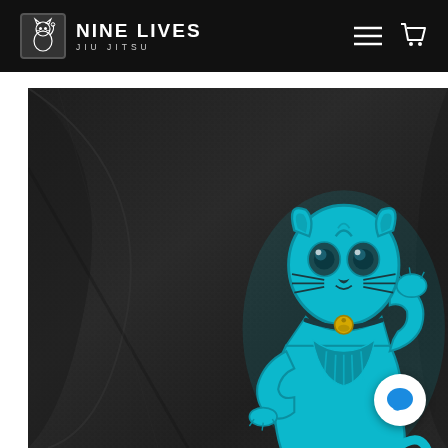NINE LIVES JIU JITSU
[Figure (photo): Close-up photo of a black Jiu Jitsu gi (uniform) with a blue embroidered maneki-neko (lucky cat) patch. The fabric has a woven texture and the patch shows the beckoning cat in teal/cyan blue with dark outlines.]
[Figure (other): White circular chat/message button with blue speech bubble icon, overlaid on the product image in the bottom right corner.]